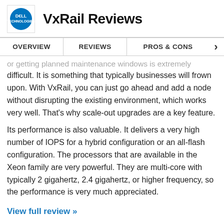VxRail Reviews
OVERVIEW   REVIEWS   PROS & CONS
or getting planned maintenance windows is extremely difficult. It is something that typically businesses will frown upon. With VxRail, you can just go ahead and add a node without disrupting the existing environment, which works very well. That's why scale-out upgrades are a key feature.
Its performance is also valuable. It delivers a very high number of IOPS for a hybrid configuration or an all-flash configuration. The processors that are available in the Xeon family are very powerful. They are multi-core with typically 2 gigahertz, 2.4 gigahertz, or higher frequency, so the performance is very much appreciated.
View full review »